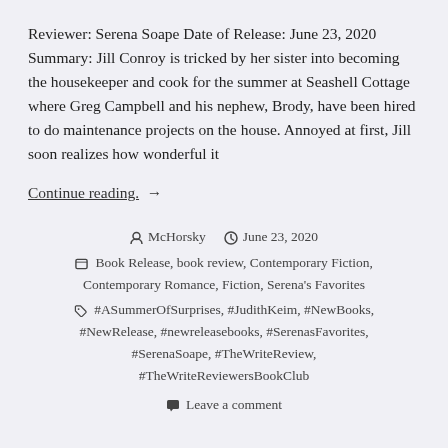Reviewer: Serena Soape Date of Release: June 23, 2020 Summary: Jill Conroy is tricked by her sister into becoming the housekeeper and cook for the summer at Seashell Cottage where Greg Campbell and his nephew, Brody, have been hired to do maintenance projects on the house. Annoyed at first, Jill soon realizes how wonderful it
Continue reading. →
McHorsky   June 23, 2020
Book Release, book review, Contemporary Fiction, Contemporary Romance, Fiction, Serena's Favorites
#ASummerOfSurprises, #JudithKeim, #NewBooks, #NewRelease, #newreleasebooks, #SerenasFavorites, #SerenaSoape, #TheWriteReview, #TheWriteReviewersBookClub
Leave a comment